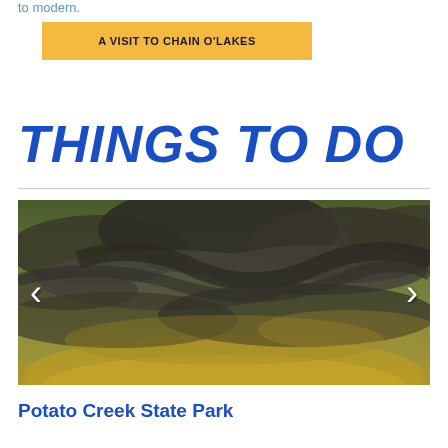to modern.
A VISIT TO CHAIN O'LAKES
THINGS TO DO
[Figure (photo): Dramatic cloudy sky at sunset/dusk with swirling dark clouds and warm golden light, wide landscape photograph used as a slideshow image with left and right navigation chevrons]
Potato Creek State Park